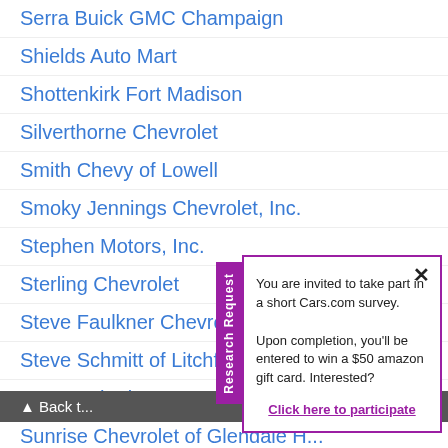Serra Buick GMC Champaign
Shields Auto Mart
Shottenkirk Fort Madison
Silverthorne Chevrolet
Smith Chevy of Lowell
Smoky Jennings Chevrolet, Inc.
Stephen Motors, Inc.
Sterling Chevrolet
Steve Faulkner Chevrolet B...
Steve Schmitt of Litchfield
Steve Schmitt, Inc.
Sunrise Chevrolet of Glendale H...
Suntrup Buick GMC
Symdon Chevrolet
[Figure (screenshot): Research Request popup modal with purple border. Contains an X close button, text reading 'You are invited to take part in a short Cars.com survey. Upon completion, you ll be entered to win a $50 amazon gift card. Interested?' and a purple underlined link 'Click here to participate'. A purple vertical tab on the left reads 'Research Request'.]
Back t...